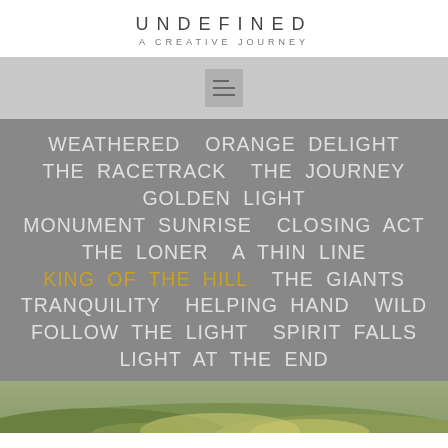UNDEFINED
A CREATIVE JOURNEY
[Figure (other): Hamburger menu icon button with three horizontal lines on gray background]
WEATHERED  ORANGE DELIGHT  THE RACETRACK  THE JOURNEY  GOLDEN LIGHT  MONUMENT SUNRISE  CLOSING ACT  THE LONER  A THIN LINE  KING OF THE HILL  THE GIANTS  TRANQUILITY  HELPING HAND  WILD  FOLLOW THE LIGHT  SPIRIT FALLS  LIGHT AT THE END
[Figure (photo): Aerial landscape photo of rolling green and golden hills with sunlight]